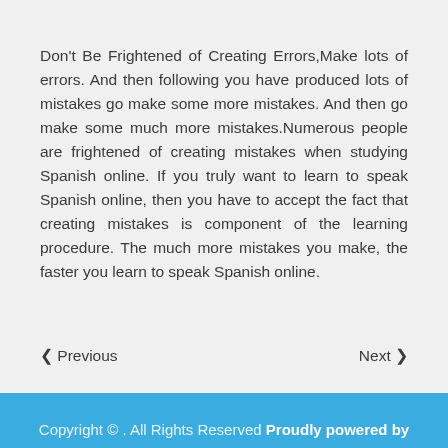Don't Be Frightened of Creating Errors,Make lots of errors. And then following you have produced lots of mistakes go make some more mistakes. And then go make some much more mistakes.Numerous people are frightened of creating mistakes when studying Spanish online. If you truly want to learn to speak Spanish online, then you have to accept the fact that creating mistakes is component of the learning procedure. The much more mistakes you make, the faster you learn to speak Spanish online.
❮ Previous    Next ❯
Copyright © . All Rights Reserved Proudly powered by WordPress | Theme: Create Magazine by Theme Palace.